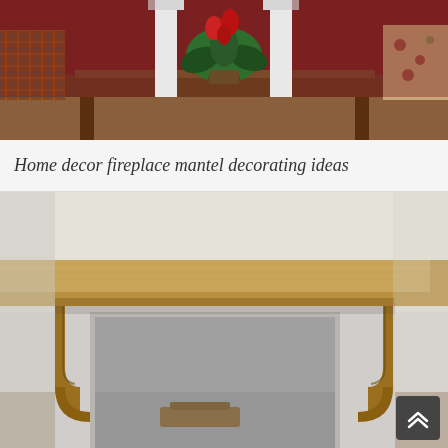[Figure (photo): Interior living room scene with fireplace area, white columns, a plant with red flowers, plaid armchair on left, floral armchair on right, rustic wooden console table.]
Home decor fireplace mantel decorating ideas
[Figure (photo): Close-up of a wooden fireplace mantel with decorative corbels/brackets, natural oak wood finish, white painted surround, gray firebox opening, small wooden piece visible at the bottom.]